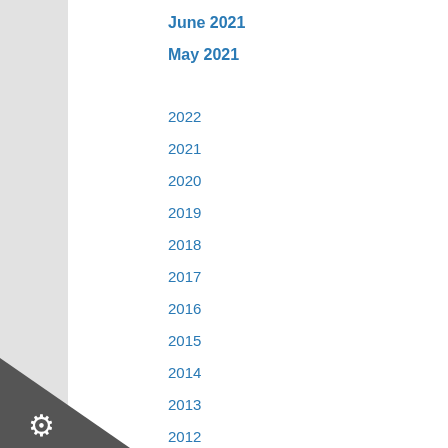June 2021
May 2021
2022
2021
2020
2019
2018
2017
2016
2015
2014
2013
2012
NOTICES
Privacy Policy